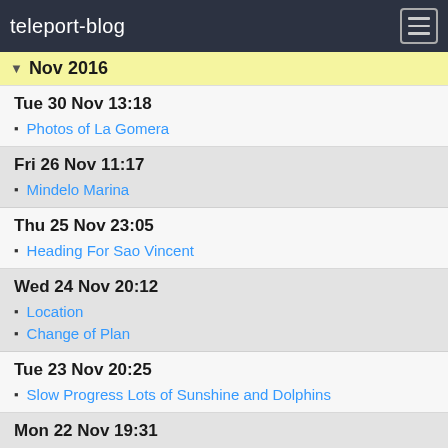teleport-blog
Nov 2016
Tue 30 Nov 13:18
Photos of La Gomera
Fri 26 Nov 11:17
Mindelo Marina
Thu 25 Nov 23:05
Heading For Sao Vincent
Wed 24 Nov 20:12
Location
Change of Plan
Tue 23 Nov 20:25
Slow Progress Lots of Sunshine and Dolphins
Mon 22 Nov 19:31
Day 2 Making Good Headway
Sun 21 Nov 19:15
Steady Progress In Light Winds